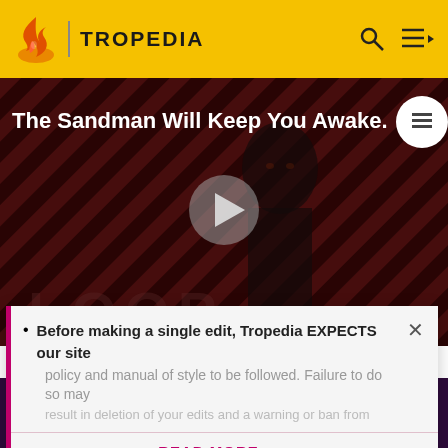TROPEDIA
[Figure (screenshot): Tropedia website hero section showing 'The Sandman Will Keep You Awake.' title over a dark striped background with a figure, a play button in center, and 'LOOP' text at bottom]
Before making a single edit, Tropedia EXPECTS our site policy and manual of style to be followed. Failure to do so may
READ MORE
[Figure (logo): Tropedia arrow logo at bottom of dark purple section]